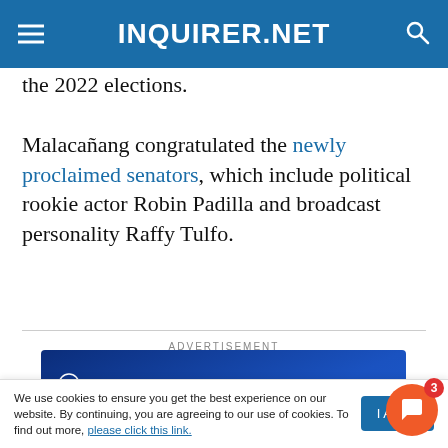INQUIRER.NET
the 2022 elections.
Malacañang congratulated the newly proclaimed senators, which include political rookie actor Robin Padilla and broadcast personality Raffy Tulfo.
ADVERTISEMENT
[Figure (screenshot): crypto.com advertisement banner with text 'Netflix and chill — on us.' on a blue gradient background]
We use cookies to ensure you get the best experience on our website. By continuing, you are agreeing to our use of cookies. To find out more, please click this link.